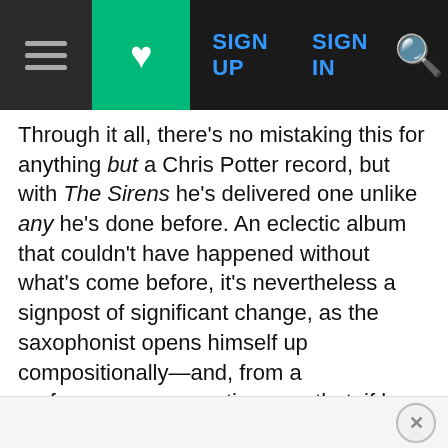[Figure (screenshot): Navigation bar with hamburger menu, green heart button, SIGN UP and SIGN IN links in blue, and a yellow search icon on dark background]
Through it all, there's no mistaking this for anything but a Chris Potter record, but with The Sirens he's delivered one unlike any he's done before. An eclectic album that couldn't have happened without what's come before, it's nevertheless a signpost of significant change, as the saxophonist opens himself up compositionally—and, from a performance perspective, one that, if he can keep this remarkable group together, promises even better things to come.
ADVERTISEMENT